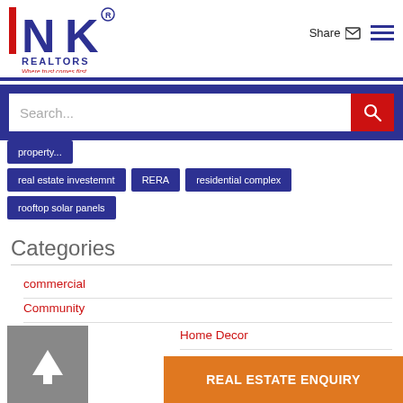[Figure (logo): NK Realtors logo with red and navy blue letters, tagline 'Where trust comes first']
Share
[Figure (infographic): Search bar with blue background, white input field and red search button]
real estate investemnt
RERA
residential complex
rooftop solar panels
Categories
commercial
Community
Home Decor
Industrial
REAL ESTATE ENQUIRY